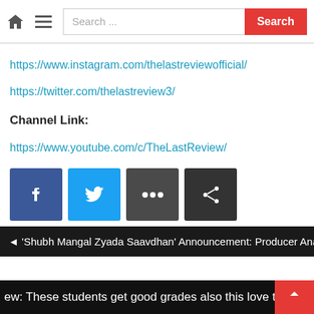Search ...
https://www.instagram.com/thelastreviewofficial/
https://twitter.com/thelastreview3/
Channel Link:
https://www.youtube.com/c/TheLastReview/
[Figure (screenshot): Social share buttons: Facebook (blue), Twitter (blue), More (...) (dark gray), Share icon (dark gray)]
◄ 'Shubh Mangal Zyada Saavdhan' Announcement: Producer Anand L
ew: These students get good grades also this love triangle is unique